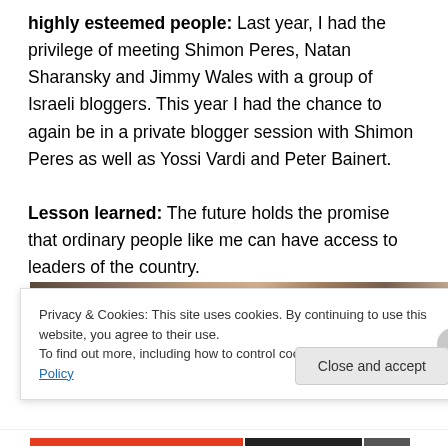highly esteemed people: Last year, I had the privilege of meeting Shimon Peres, Natan Sharansky and Jimmy Wales with a group of Israeli bloggers. This year I had the chance to again be in a private blogger session with Shimon Peres as well as Yossi Vardi and Peter Bainert.
Lesson learned: The future holds the promise that ordinary people like me can have access to leaders of the country.
[Figure (photo): Partial view of a group photo, mostly obscured by the cookie consent overlay]
Privacy & Cookies: This site uses cookies. By continuing to use this website, you agree to their use.
To find out more, including how to control cookies, see here: Cookie Policy
Close and accept